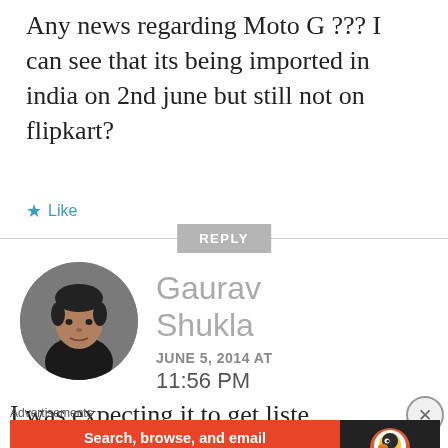Any news regarding Moto G ??? I can see that its being imported in india on 2nd june but still not on flipkart?
★ Like
REPLY
[Figure (photo): Circular avatar photo of Gaurav Shukla, a man in a dark shirt]
Gaurav Shukla
JUNE 5, 2014 AT
11:56 PM
I was expecting it to get liste
Advertisements
[Figure (infographic): DuckDuckGo advertisement banner: Search, browse, and email with more privacy. All in One Free App]